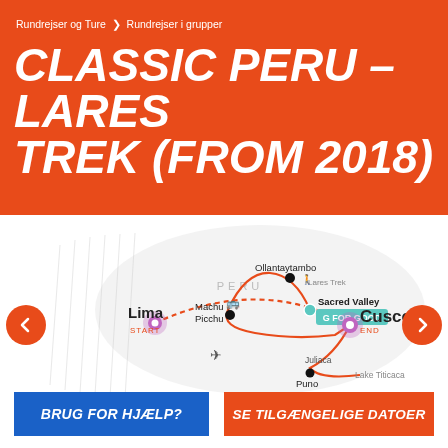Rundrejser og Ture  >  Rundrejser i grupper
CLASSIC PERU – LARES TREK (FROM 2018)
[Figure (map): Route map of Classic Peru Lares Trek showing stops: Lima (START), Machu Picchu, Ollantaytambo, Lares Trek, Sacred Valley (G FOR GOOD), Cusco (END), Juliaca, Puno, Lake Titicaca. Dashed red route from Lima to Cusco, with loop through Sacred Valley, Machu Picchu, Ollantaytambo, and south loop through Juliaca/Puno/Lake Titicaca.]
BRUG FOR HJÆLP?
SE TILGÆNGELIGE DATOER